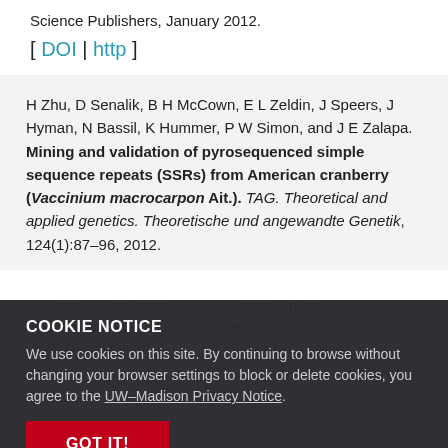Science Publishers, January 2012.
[ DOI | http ]
H Zhu, D Senalik, B H McCown, E L Zeldin, J Speers, J Hyman, N Bassil, K Hummer, P W Simon, and J E Zalapa. Mining and validation of pyrosequenced simple sequence repeats (SSRs) from American cranberry (Vaccinium macrocarpon Ait.). TAG. Theoretical and applied genetics. Theoretische und angewandte Genetik, 124(1):87–96, 2012.
COOKIE NOTICE
We use cookies on this site. By continuing to browse without changing your browser settings to block or delete cookies, you agree to the UW–Madison Privacy Notice.
GOT IT!